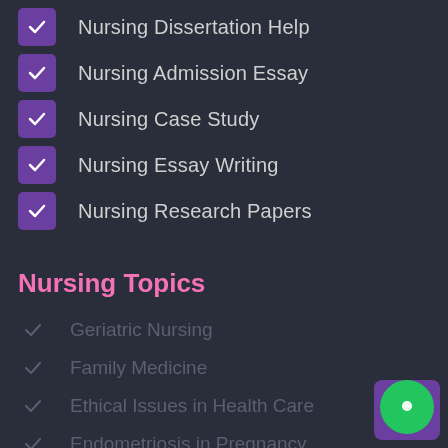Nursing Dissertation Help
Nursing Admission Essay
Nursing Case Study
Nursing Essay Writing
Nursing Research Papers
Nursing Topics
Geriatric Nursing
Family Medicine
Ethical Issues in Health Care
Endometriosis in Pregnancy
Emergency Nursing